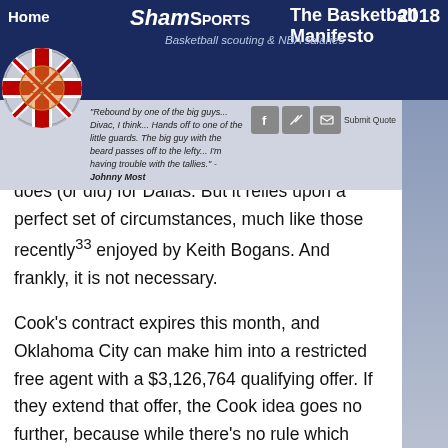Home | ShamSports | The Basketball Manifesto | 2018 | Basketball scouting & NBA salaries
"Rebound by one of the big guys... Divac, I think... Hands off to one of the little guards. The big guy with the beard passes off to the lefty... I'm having trouble with the tallies." - Johnny Most
does (or did) for Dallas. But it relies upon a perfect set of circumstances, much like those recently33 enjoyed by Keith Bogans. And frankly, it is not necessary.
Cook's contract expires this month, and Oklahoma City can make him into a restricted free agent with a $3,126,764 qualifying offer. If they extend that offer, the Cook idea goes no further, because while there's no rule which states that Cook has to sign a contract that starts at an amount equal to or larger than that, it doesn't make sense for him to do so. If